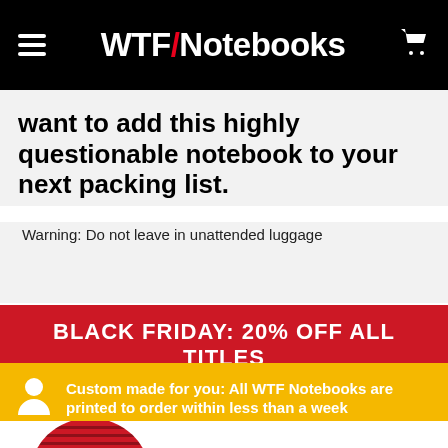WTF/Notebooks
want to add this highly questionable notebook to your next packing list.
Warning: Do not leave in unattended luggage
BLACK FRIDAY: 20% OFF ALL TITLES
Custom made for you: All WTF Notebooks are printed to order within less than a week
[Figure (photo): Partial view of a red spiral-bound notebook product]